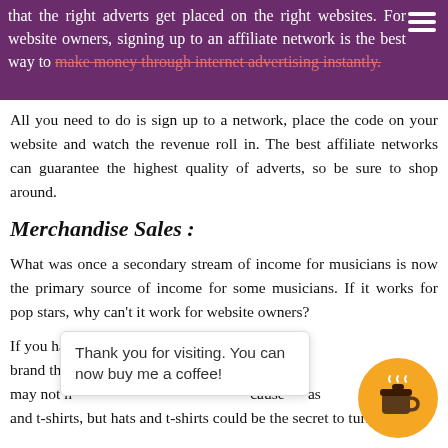that the right adverts get placed on the right websites. For website owners, signing up to an affiliate network is the best way to make money through internet advertising instantly.
All you need to do is sign up to a network, place the code on your website and watch the revenue roll in. The best affiliate networks can guarantee the highest quality of adverts, so be sure to shop around.
Merchandise Sales :
What was once a secondary stream of income for musicians is now the primary source of income for some musicians. If it works for pop stars, why can't it work for website owners?
If you have ... you too are a brand that ... has ... may not h... cause ... as and t-shirts, but hats and t-shirts could be the secret to turning
[Figure (other): Thank you for visiting popup box saying 'Thank you for visiting. You can now buy me a coffee!' with an orange circular coffee cup button overlay]